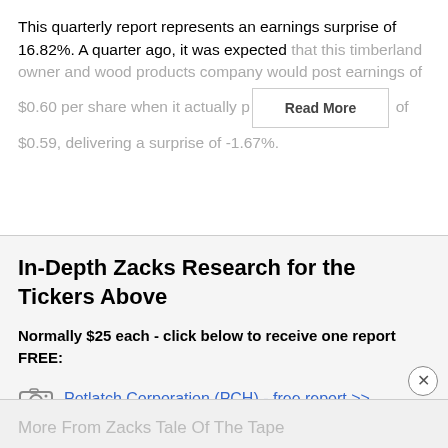This quarterly report represents an earnings surprise of 16.82%. A quarter ago, it was expected that this timberland owner and wood products company would post earnings of $0.60 per share when it actually p[...] of $0.59, delivering a surprise of -1.67%.
Read More
In-Depth Zacks Research for the Tickers Above
Normally $25 each - click below to receive one report FREE:
Potlatch Corporation (PCH) - free report >>
Trex Company, Inc. (TREX) - free report >>
More From Zacks Tale Of The Tape